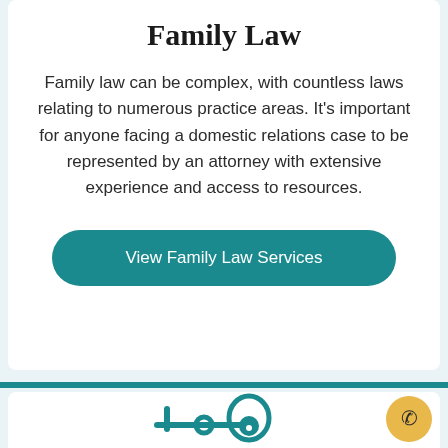Family Law
Family law can be complex, with countless laws relating to numerous practice areas. It's important for anyone facing a domestic relations case to be represented by an attorney with extensive experience and access to resources.
View Family Law Services
[Figure (illustration): Teal-colored icon resembling a balance scale or legal/family symbol, partially visible at the bottom of the page]